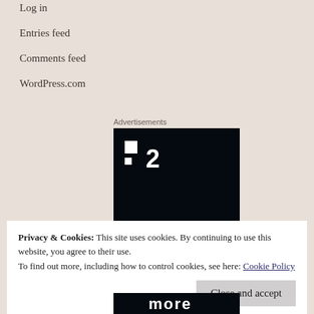Log in
Entries feed
Comments feed
WordPress.com
Advertisements
[Figure (logo): Black rectangle advertisement block with white squares and number 2 logo in top-left corner]
Privacy & Cookies: This site uses cookies. By continuing to use this website, you agree to their use.
To find out more, including how to control cookies, see here: Cookie Policy
Close and accept